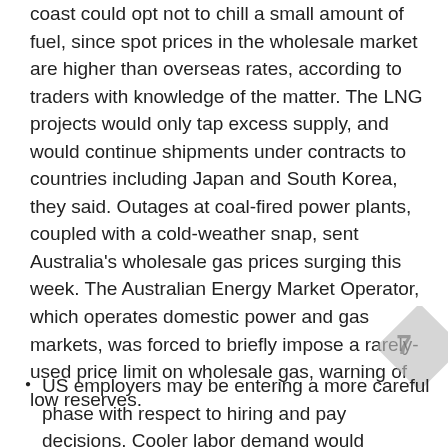coast could opt not to chill a small amount of fuel, since spot prices in the wholesale market are higher than overseas rates, according to traders with knowledge of the matter. The LNG projects would only tap excess supply, and would continue shipments under contracts to countries including Japan and South Korea, they said. Outages at coal-fired power plants, coupled with a cold-weather snap, sent Australia's wholesale gas prices surging this week. The Australian Energy Market Operator, which operates domestic power and gas markets, was forced to briefly impose a rarely-used price limit on wholesale gas, warning of low reserves.
US employers may be entering a more careful phase with respect to hiring and pay decisions. Cooler labor demand would